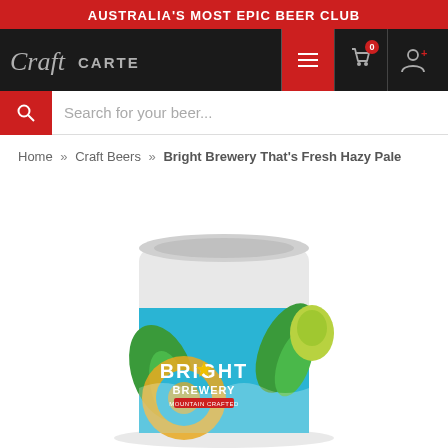AUSTRALIA'S MOST EPIC BEER CLUB
[Figure (logo): Craft Cartel logo in white/grey on dark background with navigation icons including hamburger menu (red), cart with 0 badge, and user icon]
Search for your beer...
Home » Craft Beers » Bright Brewery That's Fresh Hazy Pale
[Figure (photo): Bright Brewery That's Fresh Hazy Pale beer can with colourful blue/green/yellow label showing hops and circular design, partially cropped at bottom of page]